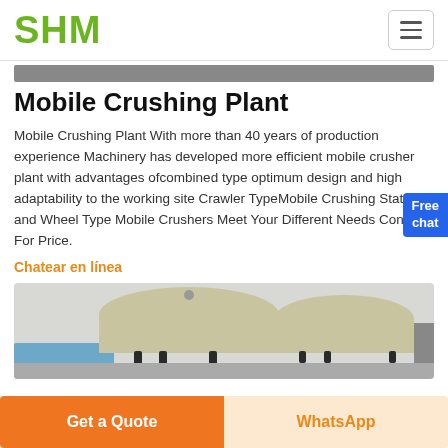SHM
Mobile Crushing Plant
Mobile Crushing Plant With more than 40 years of production experience Machinery has developed more efficient mobile crusher plant with advantages ofcombined type optimum design and high adaptability to the working site Crawler TypeMobile Crushing Stations and Wheel Type Mobile Crushers Meet Your Different Needs Contact For Price.
Chatear en línea
[Figure (photo): Photo of mobile crushing plant equipment — top view of beige/tan cone crushers on an industrial site]
Get a Quote | WhatsApp